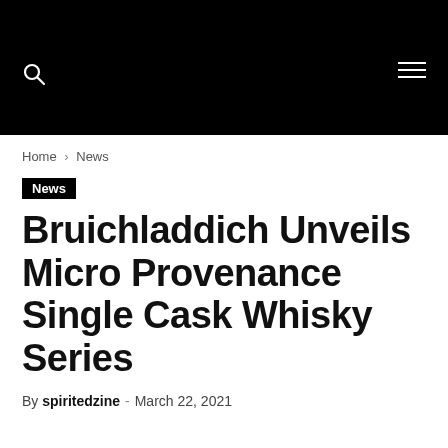Home › News
News
Bruichladdich Unveils Micro Provenance Single Cask Whisky Series
By spiritedzine - March 22, 2021